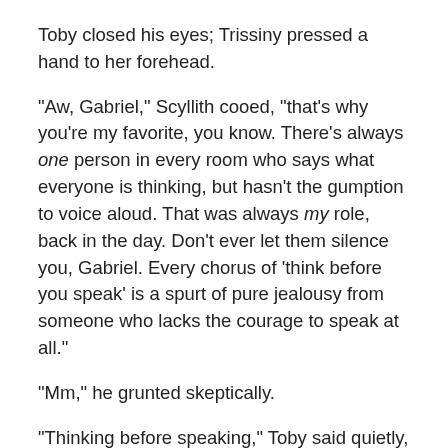Toby closed his eyes; Trissiny pressed a hand to her forehead.
“Aw, Gabriel,” Scyllith cooed, “that’s why you’re my favorite, you know. There’s always one person in every room who says what everyone is thinking, but hasn’t the gumption to voice aloud. That was always my role, back in the day. Don’t ever let them silence you, Gabriel. Every chorus of ‘think before you speak’ is a spurt of pure jealousy from someone who lacks the courage to speak at all.”
“Mm,” he grunted skeptically.
“Thinking before speaking,” Toby said quietly, “is the same as thinking before doing anything, which is always important. Words have weight.”
“A noble sentiment,” Scyllith said in a light tone, “born of a barely more than medieval grasp of psychology. If you